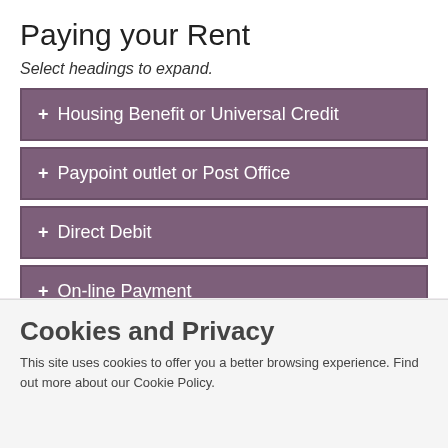Paying your Rent
Select headings to expand.
+ Housing Benefit or Universal Credit
+ Paypoint outlet or Post Office
+ Direct Debit
+ On-line Payment
+ Debit or Credit Card Payment
Universal Credit
Select headings to expand.
Cookies and Privacy
This site uses cookies to offer you a better browsing experience. Find out more about our Cookie Policy.